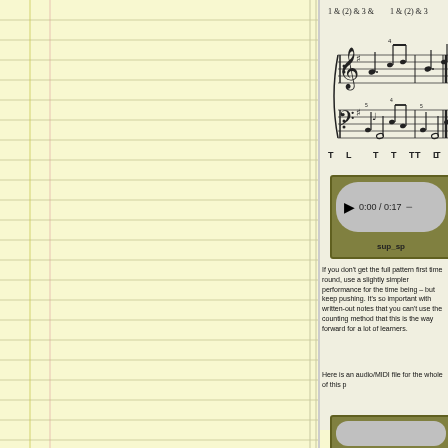[Figure (illustration): Sheet music notation showing a musical pattern with treble and bass clef staves, with counting markers '1 & (2) & 3 & 1 & (2) & 3' above, and tongue/lip (T L T T T T L T T) articulation markers below. Notes appear in G major with repeat signs.]
[Figure (screenshot): Audio player widget showing play button, time display '0:00 / 0:17', and a minus button. Dark olive green border with gray rounded-rectangle player controls. Label 'sup_sp' appears below.]
If you don't get the full pattern first time round, use a slightly simpler performance for the time being – but keep pushing. It's so important with written-out notes that you can't use the counting method that this is the way forward for a lot of learners.
Here is an audio/MIDI file for the whole of this p
[Figure (screenshot): Partial audio player widget at bottom of page.]